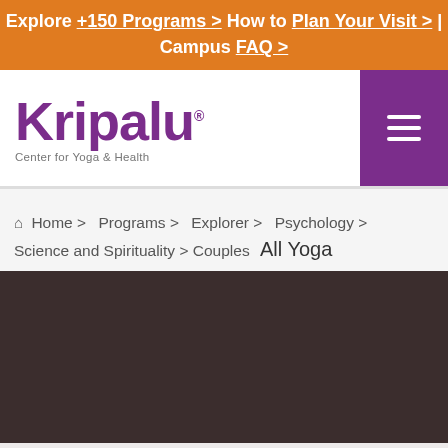Explore +150 Programs > How to Plan Your Visit > | Campus FAQ >
[Figure (logo): Kripalu Center for Yoga & Health logo in purple]
Home > Programs > Explorer > Psychology > Science and Spirituality > Couples  All Yoga